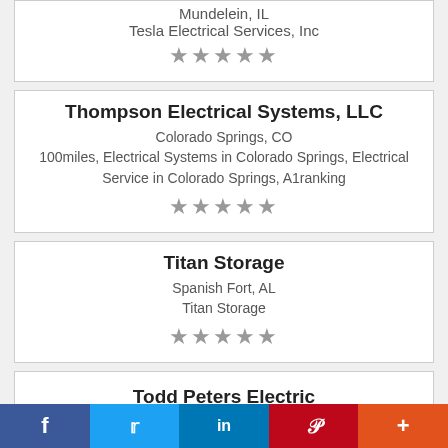Mundelein, IL
Tesla Electrical Services, Inc
★★★★★
Thompson Electrical Systems, LLC
Colorado Springs, CO
100miles, Electrical Systems in Colorado Springs, Electrical Service in Colorado Springs, A1ranking
★★★★★
Titan Storage
Spanish Fort, AL
Titan Storage
★★★★★
Todd Peters Electric
f  t  in  P  +